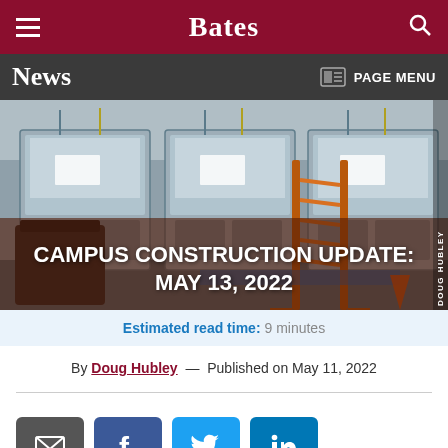Bates
News | PAGE MENU
[Figure (photo): Construction photo of a laboratory under renovation with fume hoods, cabinets, a ladder, and a trash bin. Photo credit: DOUG HUBLEY]
CAMPUS CONSTRUCTION UPDATE: MAY 13, 2022
Estimated read time: 9 minutes
By Doug Hubley — Published on May 11, 2022